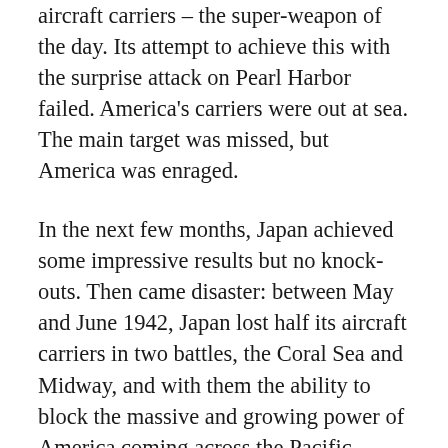aircraft carriers – the super-weapon of the day. Its attempt to achieve this with the surprise attack on Pearl Harbor failed. America's carriers were out at sea. The main target was missed, but America was enraged.
In the next few months, Japan achieved some impressive results but no knock-outs. Then came disaster: between May and June 1942, Japan lost half its aircraft carriers in two battles, the Coral Sea and Midway, and with them the ability to block the massive and growing power of America coming across the Pacific. Daring and ruthlessness would not be enough against America's factories, shipyards, refineries and steel mills.
America's production of ships, planes, guns, trucks and every conceivable article of war material is one of history's greatest